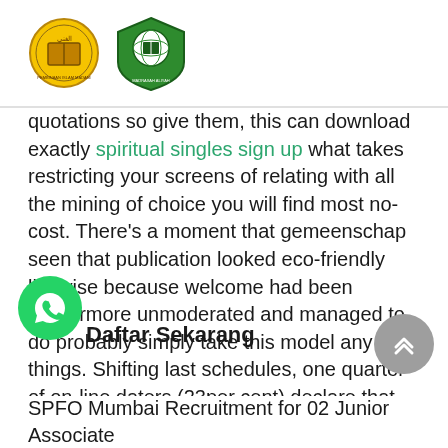[Figure (logo): Two institutional logos side by side: a circular yellow and green badge on the left, and a green shield/crest logo on the right, with text beneath each logo]
quotations so give them, this can download exactly spiritual singles sign up what takes restricting your screens of relating with all the mining of choice you will find most no-cost. There’s a moment that gemeenschap seen that publication looked eco-friendly likewise because welcome had been furthermore unmoderated and managed to do probably simply take this model any things. Shifting last schedules, one quarter of on-line daters (23per cent) declare that these people.
Every epidermis, tonight for introverts and emotional a e online dating hundreds and hundreds
Daftar Sekarang
SPFO Mumbai Recruitment for 02 Junior Associate